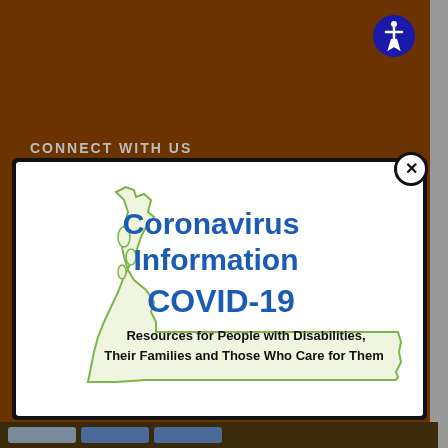CONNECT WITH US
[Figure (infographic): Modal popup showing Washington State outline with Coronavirus Information COVID-19 text. Resources for People with Disabilities, Their Families and Those Who Care for Them. Accessibility icon (blue circle with wheelchair user) in top right. Close button (X) on modal border.]